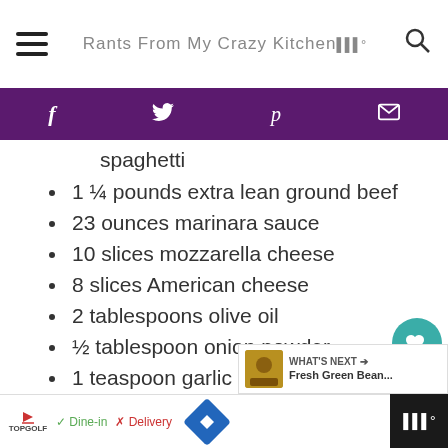Rants From My Crazy Kitchen
spaghetti
1 ¼ pounds extra lean ground beef
23 ounces marinara sauce
10 slices mozzarella cheese
8 slices American cheese
2 tablespoons olive oil
½ tablespoon onion powder
1 teaspoon garlic powder
⅛ teaspoon black pepper
Cooking spray
WHAT'S NEXT → Fresh Green Bean...